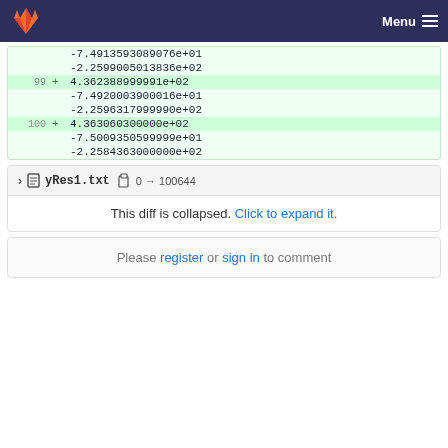GitLab — Menu
-7.4913593089076e+01
-2.2599005013836e+02
+    4.362388999991e+02
-7.4920003900016e+01
-2.2596317999990e+02
+    4.363060300000e+02
-7.5009350599999e+01
-2.2584363000000e+02
> yRes1.txt  0 → 100644
This diff is collapsed. Click to expand it.
Please register or sign in to comment